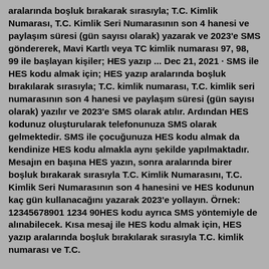aralarında boşluk bırakarak sırasıyla; T.C. Kimlik Numarası, T.C. Kimlik Seri Numarasının son 4 hanesi ve paylaşım süresi (gün sayısı olarak) yazarak ve 2023'e SMS göndererek, Mavi Kartlı veya TC kimlik numarası 97, 98, 99 ile başlayan kişiler; HES yazıp ... Dec 21, 2021 · SMS ile HES kodu almak için; HES yazıp aralarında boşluk bırakılarak sırasıyla; T.C. kimlik numarası, T.C. kimlik seri numarasının son 4 hanesi ve paylaşım süresi (gün sayısı olarak) yazılır ve 2023'e SMS olarak atılır. Ardından HES kodunuz oluşturularak telefonunuza SMS olarak gelmektedir. SMS ile çocuğunuza HES kodu almak da kendinize HES kodu almakla aynı şekilde yapılmaktadır. Mesajın en başına HES yazın, sonra aralarında birer boşluk bırakarak sırasıyla T.C. Kimlik Numarasını, T.C. Kimlik Seri Numarasının son 4 hanesini ve HES kodunun kaç gün kullanacağını yazarak 2023'e yollayın. Örnek: 12345678901 1234 90HES kodu ayrıca SMS yöntemiyle de alınabilecek. Kısa mesaj ile HES kodu almak için, HES yazıp aralarında boşluk bırakılarak sırasıyla T.C. kimlik numarası ve T.C.